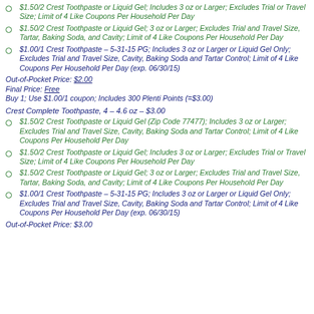$1.50/2 Crest Toothpaste or Liquid Gel; Includes 3 oz or Larger; Excludes Trial or Travel Size; Limit of 4 Like Coupons Per Household Per Day
$1.50/2 Crest Toothpaste or Liquid Gel; 3 oz or Larger; Excludes Trial and Travel Size, Tartar, Baking Soda, and Cavity; Limit of 4 Like Coupons Per Household Per Day
$1.00/1 Crest Toothpaste – 5-31-15 PG; Includes 3 oz or Larger or Liquid Gel Only; Excludes Trial and Travel Size, Cavity, Baking Soda and Tartar Control; Limit of 4 Like Coupons Per Household Per Day (exp. 06/30/15)
Out-of-Pocket Price: $2.00
Final Price: Free
Buy 1; Use $1.00/1 coupon; Includes 300 Plenti Points (=$3.00)
Crest Complete Toothpaste, 4 – 4.6 oz – $3.00
$1.50/2 Crest Toothpaste or Liquid Gel (Zip Code 77477); Includes 3 oz or Larger; Excludes Trial and Travel Size, Cavity, Baking Soda and Tartar Control; Limit of 4 Like Coupons Per Household Per Day
$1.50/2 Crest Toothpaste or Liquid Gel; Includes 3 oz or Larger; Excludes Trial or Travel Size; Limit of 4 Like Coupons Per Household Per Day
$1.50/2 Crest Toothpaste or Liquid Gel; 3 oz or Larger; Excludes Trial and Travel Size, Tartar, Baking Soda, and Cavity; Limit of 4 Like Coupons Per Household Per Day
$1.00/1 Crest Toothpaste – 5-31-15 PG; Includes 3 oz or Larger or Liquid Gel Only; Excludes Trial and Travel Size, Cavity, Baking Soda and Tartar Control; Limit of 4 Like Coupons Per Household Per Day (exp. 06/30/15)
Out-of-Pocket Price: $3.00